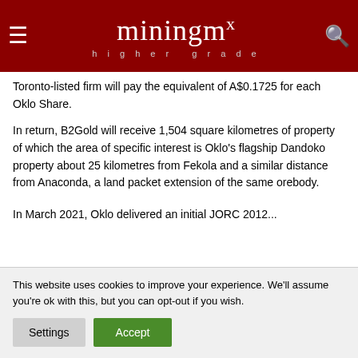miningmx higher grade
Toronto-listed firm will pay the equivalent of A$0.1725 for each Oklo Share.
In return, B2Gold will receive 1,504 square kilometres of property of which the area of specific interest is Oklo's flagship Dandoko property about 25 kilometres from Fekola and a similar distance from Anaconda, a land packet extension of the same orebody.
In March 2021, Oklo delivered an initial JORC 2012...
This website uses cookies to improve your experience. We'll assume you're ok with this, but you can opt-out if you wish.